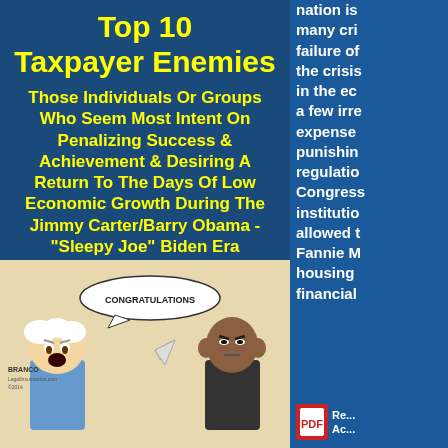Top 10 Taxpayer Enemies
Those Individuals Or Groups Who Seem Most Intent On Penalizing Success & Achievement & Desiring A Return To The Days Of Low Economic Growth During The Jimmy Carter/Barry Obama - "Sleepy Joe" Biden Era
(in order, as of today)
[Figure (illustration): Political cartoon by Branco, LegalInsurrection.com, 2014. Shows two caricatured figures, one elderly man and one figure resembling Barack Obama, with a speech bubble saying 'CONGRATULATIONS'. A paper airplane is visible between them.]
nation is many cri failure of the crisis in the ec a few irre expense punishin regulatio Congress institutio allowed t Fannie M housing financial
[Figure (other): PDF icon with text 'Re... Ac...' beside it at bottom right]